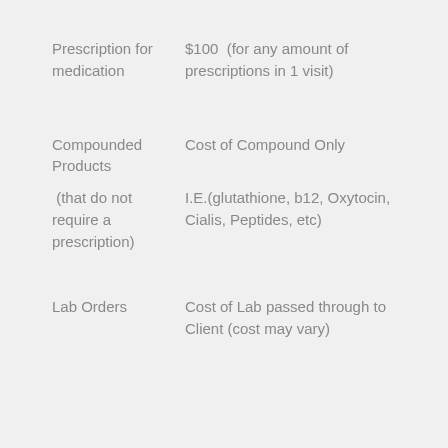Prescription for medication
$100  (for any amount of prescriptions in 1 visit)
Compounded Products
Cost of Compound Only
(that do not require a prescription)
I.E.(glutathione, b12, Oxytocin, Cialis, Peptides, etc)
Lab Orders
Cost of Lab passed through to Client (cost may vary)